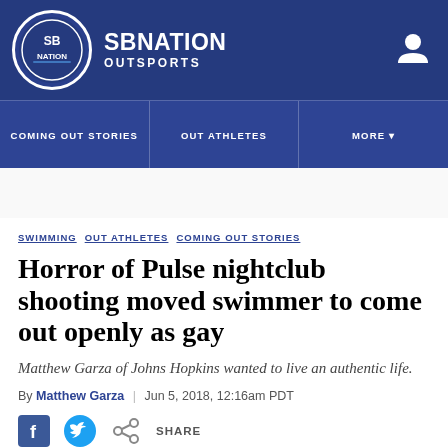SBNation Outsports
COMING OUT STORIES  OUT ATHLETES  MORE
SWIMMING  OUT ATHLETES  COMING OUT STORIES
Horror of Pulse nightclub shooting moved swimmer to come out openly as gay
Matthew Garza of Johns Hopkins wanted to live an authentic life.
By Matthew Garza  |  Jun 5, 2018, 12:16am PDT